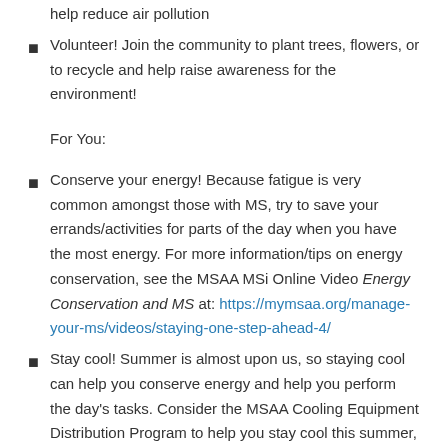help reduce air pollution
Volunteer! Join the community to plant trees, flowers, or to recycle and help raise awareness for the environment!
For You:
Conserve your energy! Because fatigue is very common amongst those with MS, try to save your errands/activities for parts of the day when you have the most energy. For more information/tips on energy conservation, see the MSAA MSi Online Video Energy Conservation and MS at: https://mymsaa.org/manage-your-ms/videos/staying-one-step-ahead-4/
Stay cool! Summer is almost upon us, so staying cool can help you conserve energy and help you perform the day's tasks. Consider the MSAA Cooling Equipment Distribution Program to help you stay cool this summer, https://mymsaa.org/msaa-help/cooling/
Enjoy the environment… Getting outside to garden or partaking in